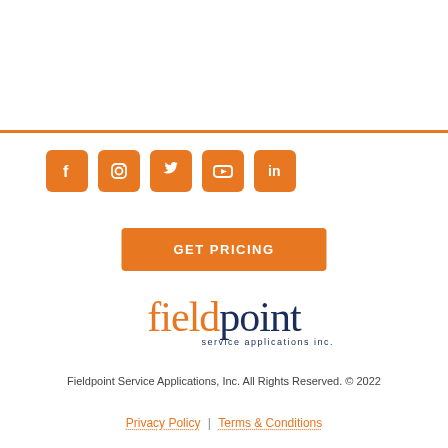[Figure (other): Row of 5 orange rounded-square social media icons: Facebook, Instagram, Twitter, YouTube, LinkedIn]
GET PRICING
[Figure (logo): Fieldpoint Service Applications Inc. logo — 'field' in orange, 'point' in dark navy, with 'service applications inc.' subtitle in navy]
Fieldpoint Service Applications, Inc. All Rights Reserved. © 2022
Privacy Policy | Terms & Conditions